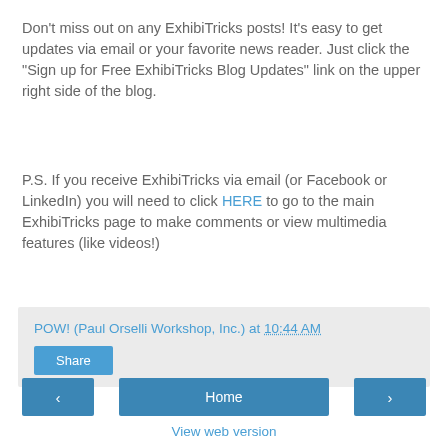Don't miss out on any ExhibiTricks posts! It's easy to get updates via email or your favorite news reader. Just click the "Sign up for Free ExhibiTricks Blog Updates" link on the upper right side of the blog.
P.S. If you receive ExhibiTricks via email (or Facebook or LinkedIn) you will need to click HERE to go to the main ExhibiTricks page to make comments or view multimedia features (like videos!)
POW! (Paul Orselli Workshop, Inc.) at 10:44 AM
Share
Home
View web version